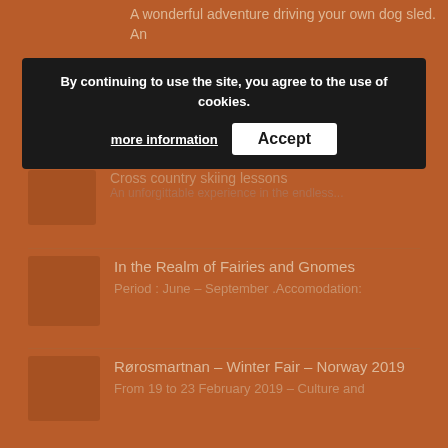A wonderful adventure driving your own dog sled. An
By continuing to use the site, you agree to the use of cookies. more information  Accept
Cross country skiing lessons
An unforgettable experience in the endless...
In the Realm of Fairies and Gnomes
Period : June – September .Accomodation:
Rørosmartnan – Winter Fair – Norway 2019
From  19 to  23 February  2019 – Culture and
TAGS
alaskan husky  Arctic Raspberries  artico  babbo natale  battesimo della solitudine  Beavers  berry pickers  betulle  Blueberries  christmas in sweden  Conifer forests  cross country winter  Eldorado'  fairytale atmosphere  glacial debris